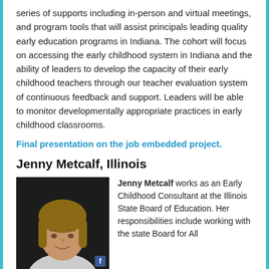series of supports including in-person and virtual meetings, and program tools that will assist principals leading quality early education programs in Indiana. The cohort will focus on accessing the early childhood system in Indiana and the ability of leaders to develop the capacity of their early childhood teachers through our teacher evaluation system of continuous feedback and support. Leaders will be able to monitor developmentally appropriate practices in early childhood classrooms.
Final presentation on the job embedded project.
Jenny Metcalf, Illinois
[Figure (photo): Headshot photo of Jenny Metcalf, a woman with light brown hair and a smile, photographed against a dark background.]
Jenny Metcalf works as an Early Childhood Consultant at the Illinois State Board of Education. Her responsibilities include working with the state Board for All...